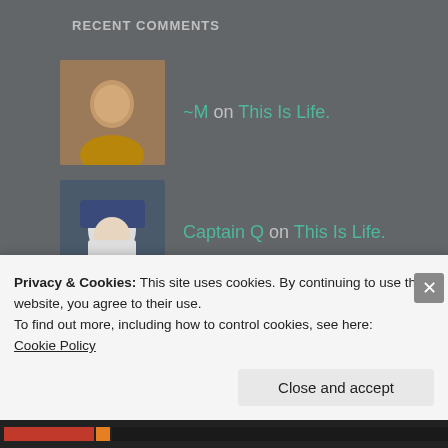RECENT COMMENTS
-M on This Is Life.
Captain Q on This Is Life.
-M on This Is Life.
Captain Q on Fancy Dresses & Heels
threewintryfriends on Fancy Dresses & Heels
Privacy & Cookies: This site uses cookies. By continuing to use this website, you agree to their use.
To find out more, including how to control cookies, see here:
Cookie Policy
Close and accept